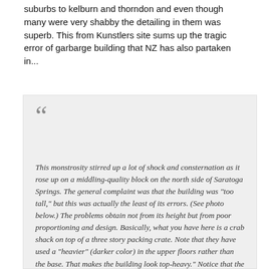suburbs to kelburn and thorndon and even though many were very shabby the detailing in them was superb. This from Kunstlers site sums up the tragic error of garbarge building that NZ has also partaken in...
This monstrosity stirred up a lot of shock and consternation as it rose up on a middling-quality block on the north side of Saratoga Springs. The general complaint was that the building was "too tall," but this was actually the least of its errors. (See photo below.) The problems obtain not from its height but from poor proportioning and design. Basically, what you have here is a crab shack on top of a three story packing crate. Note that they have used a "heavier" (darker color) in the upper floors rather than the base. That makes the building look top-heavy." Notice that the volumes are simply stacked, like pallets in a frozen food warehouse. Notice the "change of materials" gambit on one side of the ground floor. It was supposed to give the base "weight" but it actually looks incongruous (and dumb). Notice the poor quality materials used for the screened-in porch, and especially the flimsy appearance of the